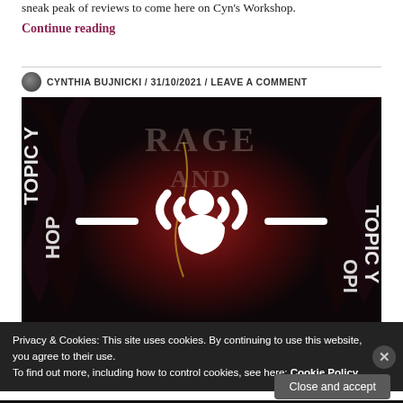sneak peak of reviews to come here on Cyn's Workshop.
Continue reading
CYNTHIA BUJNICKI / 31/10/2021 / LEAVE A COMMENT
[Figure (photo): Book cover image with a dark red and black floral background, white Spotify-style listen icon in the center, with stylized text reading 'RAGE AND...' visible behind the icon. The word 'TOPIC Y' appears multiple times around the edges.]
Privacy & Cookies: This site uses cookies. By continuing to use this website, you agree to their use.
To find out more, including how to control cookies, see here: Cookie Policy
Close and accept